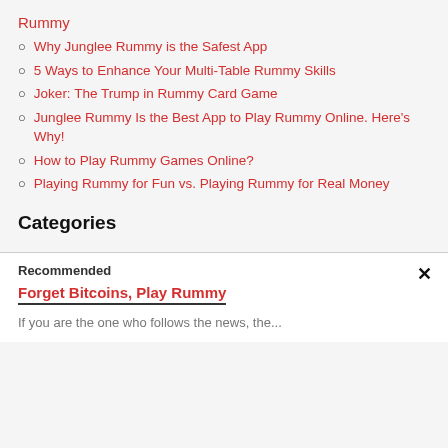Rummy
Why Junglee Rummy is the Safest App
5 Ways to Enhance Your Multi-Table Rummy Skills
Joker: The Trump in Rummy Card Game
Junglee Rummy Is the Best App to Play Rummy Online. Here's Why!
How to Play Rummy Games Online?
Playing Rummy for Fun vs. Playing Rummy for Real Money
Categories
Recommended
Forget Bitcoins, Play Rummy
If you are the one who follows the news, the...